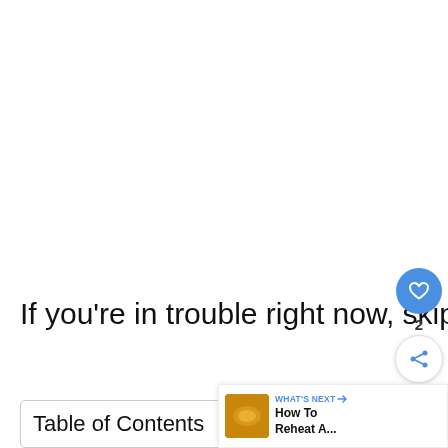If you're in trouble right now, skip ahead for solutions.
Table of Contents
[Figure (infographic): Floating action panel with heart/like button (blue circle, heart icon), count of 2, and share button (white circle with share icon)]
[Figure (infographic): WHAT'S NEXT banner with food thumbnail and text 'How To Reheat A...']